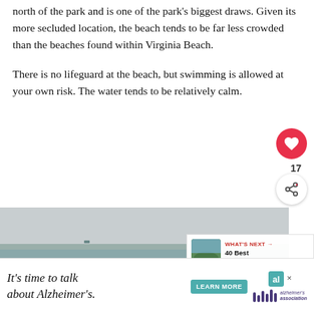north of the park and is one of the park's biggest draws. Given its more secluded location, the beach tends to be far less crowded than the beaches found within Virginia Beach.
There is no lifeguard at the beach, but swimming is allowed at your own risk. The water tends to be relatively calm.
[Figure (photo): A calm beach scene showing flat water with a distant shoreline and dune grasses with a wooden fence in the foreground on an overcast day.]
[Figure (infographic): "WHAT'S NEXT" card with thumbnail image linking to '40 Best Things to D...']
[Figure (infographic): Advertisement banner: 'It's time to talk about Alzheimer's.' with Alzheimer's Association logo and LEARN MORE button.]